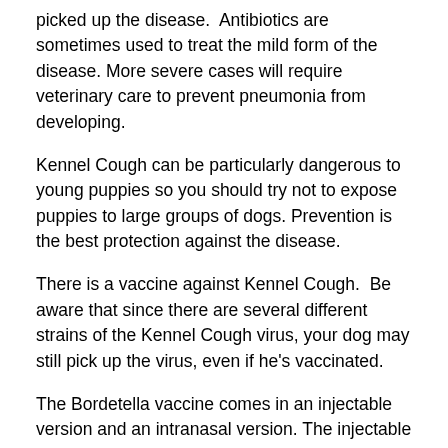picked up the disease.  Antibiotics are sometimes used to treat the mild form of the disease. More severe cases will require veterinary care to prevent pneumonia from developing.
Kennel Cough can be particularly dangerous to young puppies so you should try not to expose puppies to large groups of dogs. Prevention is the best protection against the disease.
There is a vaccine against Kennel Cough.  Be aware that since there are several different strains of the Kennel Cough virus, your dog may still pick up the virus, even if he's vaccinated.
The Bordetella vaccine comes in an injectable version and an intranasal version. The injectable version requires two doses given 3-4 weeks apart. It does not begin providing protection for your dog until 1-2 weeks after the second